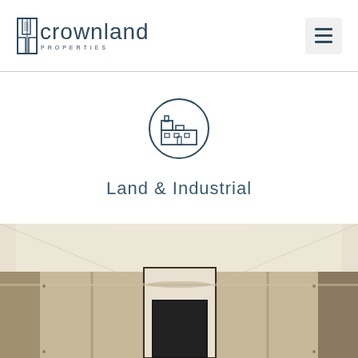[Figure (logo): Crownland Properties logo with stylized building icon and text]
[Figure (illustration): Industrial/factory building icon inside a circle, representing Land & Industrial property category]
Land & Industrial
[Figure (photo): Interior photo showing a modern, high-end hallway or lobby with beige paneled walls, recessed ceiling lighting, and a framed artwork on the wall]